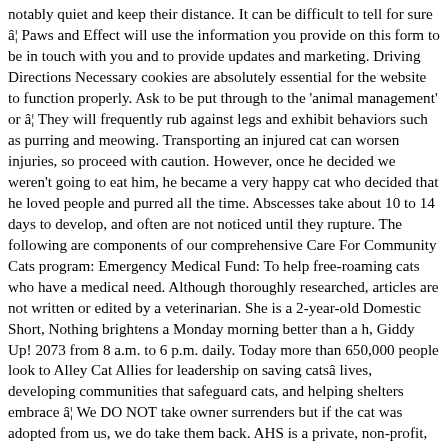notably quiet and keep their distance. It can be difficult to tell for sure â¦ Paws and Effect will use the information you provide on this form to be in touch with you and to provide updates and marketing. Driving Directions Necessary cookies are absolutely essential for the website to function properly. Ask to be put through to the 'animal management' or â¦ They will frequently rub against legs and exhibit behaviors such as purring and meowing. Transporting an injured cat can worsen injuries, so proceed with caution. However, once he decided we weren't going to eat him, he became a very happy cat who decided that he loved people and purred all the time. Abscesses take about 10 to 14 days to develop, and often are not noticed until they rupture. The following are components of our comprehensive Care For Community Cats program: Emergency Medical Fund: To help free-roaming cats who have a medical need. Although thoroughly researched, articles are not written or edited by a veterinarian. She is a 2-year-old Domestic Short, Nothing brightens a Monday morning better than a h, Giddy Up! 2073 from 8 a.m. to 6 p.m. daily. Today more than 650,000 people look to Alley Cat Allies for leadership on saving catsâ lives, developing communities that safeguard cats, and helping shelters embrace â¦ We DO NOT take owner surrenders but if the cat was adopted from us, we do take them back. AHS is a private, non-profit, 501(c)(3) animal welfare organization and is not affiliated with any other local, state or national humane groups. Please let us know all the ways you would like to hear from us: You can change your mind at any time by clicking the unsubscribe link in the footer of any email you receive from us, or by contacting us at advice@paws-and-effect.com. The odds are very good that they will say he does need to see a vet. 480-991-9498. We are working on a website to give you the